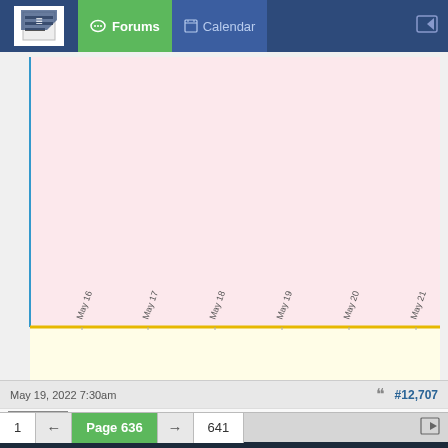Forums | Calendar
[Figure (continuous-plot): Financial chart with pink upper area and yellow lower axis area, showing dates May 16 through May 21, 2022 on x-axis]
1 👍
May 19, 2022 7:30am  #12,707
RachelB | Joined Nov 2020
Quoting jnevins
... and totally off message... I am experimenting with a grid EA, running it 24/7 on a windows 10, micro computer that uses very little power (like 10
1 ← Page 636 → 641
trading.com  Trade forex with zero commissions and spreads as low as 0.7  Forex trading involves risk. Losses can exceed deposits. Trading.com receives a spread on each trade and charges rollover fees if applicable.  OPEN AN ACCOUNT